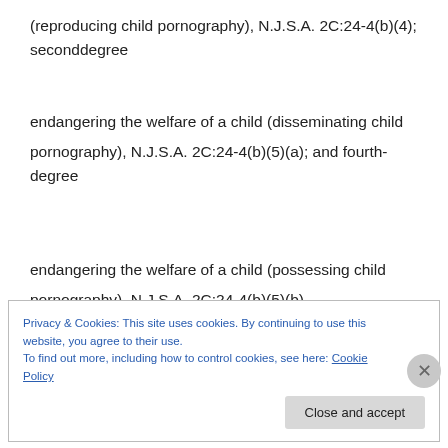(reproducing child pornography), N.J.S.A. 2C:24-4(b)(4); seconddegree
endangering the welfare of a child (disseminating child pornography), N.J.S.A. 2C:24-4(b)(5)(a); and fourth-degree
endangering the welfare of a child (possessing child pornography), N.J.S.A. 2C:24-4(b)(5)(b).
Privacy & Cookies: This site uses cookies. By continuing to use this website, you agree to their use. To find out more, including how to control cookies, see here: Cookie Policy